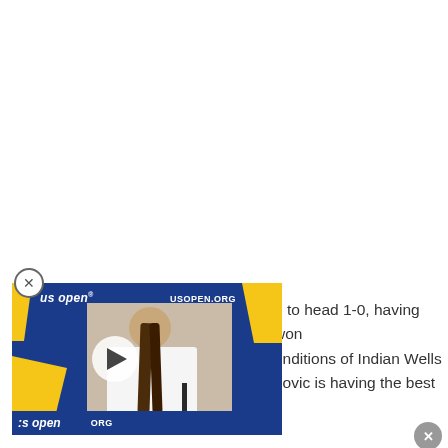[Figure (screenshot): Video thumbnail of a US Open press conference. A person with long dark hair in a white shirt sits at a podium. The video player overlay shows a play button. US Open branding (blue and yellow) appears on the backdrop. 'USOPEN.ORG' appears in the top right. The video player lower bar shows 'us open' and 'ORG' text.]
d to head 1-0, having won onditions of Indian Wells novic is having the best